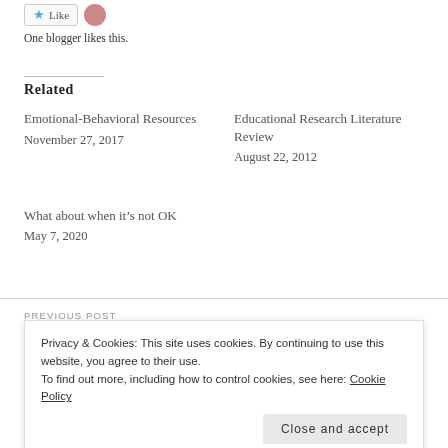One blogger likes this.
Related
Emotional-Behavioral Resources
November 27, 2017
Educational Research Literature Review
August 22, 2012
What about when it’s not OK
May 7, 2020
PREVIOUS POST
Privacy & Cookies: This site uses cookies. By continuing to use this website, you agree to their use.
To find out more, including how to control cookies, see here: Cookie Policy
Close and accept
NEXT POST →